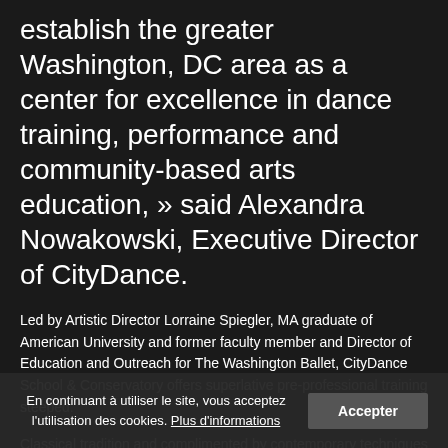establish the greater Washington, DC area as a center for excellence in dance training, performance and community-based arts education, » said Alexandra Nowakowski, Executive Director of CityDance.
Led by Artistic Director Lorraine Spiegler, MA graduate of American University and former faculty member and Director of Education and Outreach for The Washington Ballet, CityDance School & Conservatory offers superlative pre-professional training steeped.
Classical tradition and complimented by contemporary techniques to equip students with the tools they need to thrive in today's professional dance world. « CityDance's focus on preparing well-rounded dancers is perfectly aligned with the philosophy of ADI's dance education programs, » said ADI Executive Director, Adrienne Willis.
En continuant à utiliser le site, vous acceptez l'utilisation des cookies. Plus d'informations Accepter